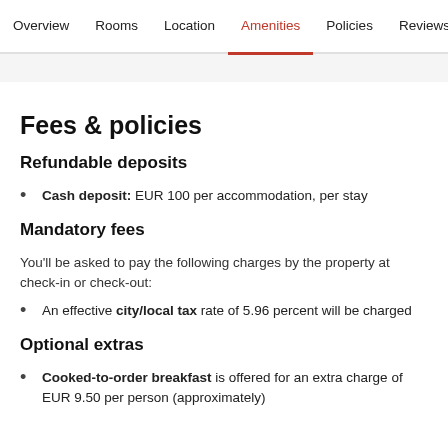Overview   Rooms   Location   Amenities   Policies   Reviews
Fees & policies
Refundable deposits
Cash deposit: EUR 100 per accommodation, per stay
Mandatory fees
You'll be asked to pay the following charges by the property at check-in or check-out:
An effective city/local tax rate of 5.96 percent will be charged
Optional extras
Cooked-to-order breakfast is offered for an extra charge of EUR 9.50 per person (approximately)